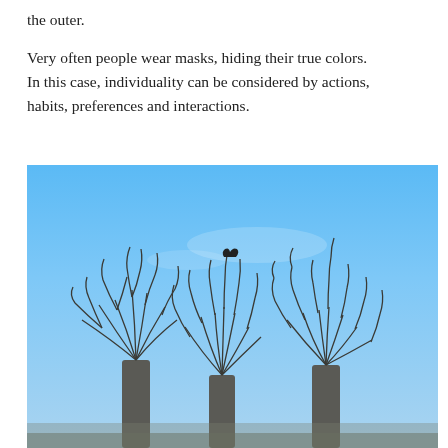the outer.
Very often people wear masks, hiding their true colors. In this case, individuality can be considered by actions, habits, preferences and interactions.
[Figure (photo): Photo of bare winter tree tops with thin, spindly branches silhouetted against a bright blue sky. A bird is visible perched near the top of one of the central branches.]